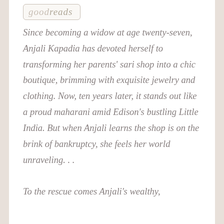[Figure (logo): Goodreads logo in italic serif font inside a rounded rectangle border]
Since becoming a widow at age twenty-seven, Anjali Kapadia has devoted herself to transforming her parents' sari shop into a chic boutique, brimming with exquisite jewelry and clothing. Now, ten years later, it stands out like a proud maharani amid Edison's bustling Little India. But when Anjali learns the shop is on the brink of bankruptcy, she feels her world unraveling. . . To the rescue comes Anjali's wealthy,